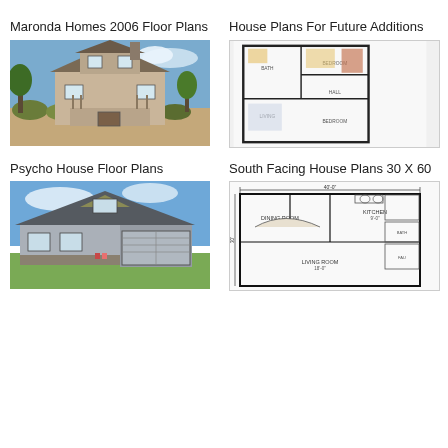Maronda Homes 2006 Floor Plans
House Plans For Future Additions
[Figure (photo): Exterior photo of a large Victorian-style two-story house with brown siding, front porch with columns, surrounded by trees and shrubs.]
[Figure (engineering-diagram): Floor plan blueprint showing multiple rooms including bedrooms, bathrooms, and living areas in black and white with some color accents.]
Psycho House Floor Plans
South Facing House Plans 30 X 60
[Figure (photo): Exterior photo of a single-story craftsman-style house with gray siding, attached garage, blue sky with clouds.]
[Figure (engineering-diagram): Floor plan showing dining room, kitchen, living room, and other rooms for a 30x60 south facing house plan.]